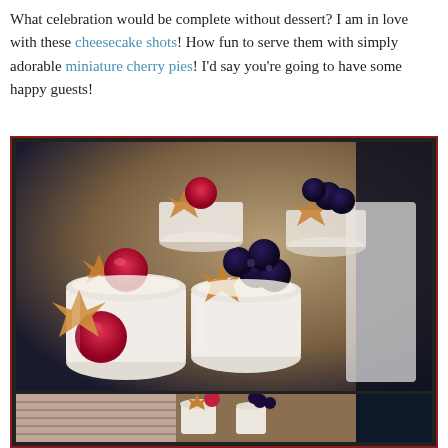What celebration would be complete without dessert?  I am in love with these cheesecake shots!  How fun to serve them with simply adorable miniature cherry pies!  I'd say you're going to have some happy guests!
[Figure (photo): Close-up photo of cheesecake shots in small cylindrical glasses topped with raspberries, blueberries, and star-shaped pastry cookies arranged in a row on a white tray. A second partial photo is visible below.]